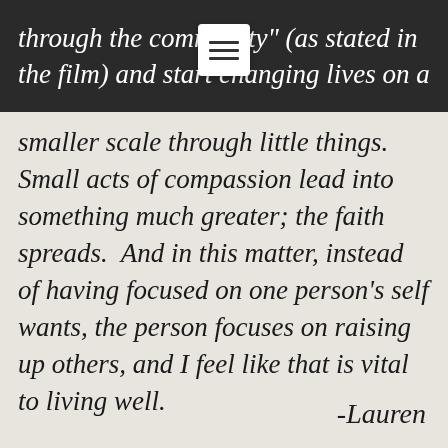through the community" (as stated in the film) and start changing lives on a
smaller scale through little things. Small acts of compassion lead into something much greater; the faith spreads. And in this matter, instead of having focused on one person's self wants, the person focuses on raising up others, and I feel like that is vital to living well.
-Lauren